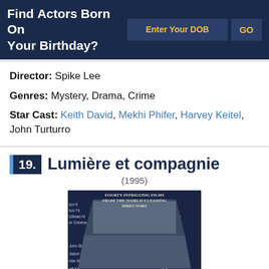Find Actors Born On Your Birthday?
Director: Spike Lee
Genres: Mystery, Drama, Crime
Star Cast: Keith David, Mekhi Phifer, Harvey Keitel, John Turturro
19. Lumière et compagnie
(1995)
[Figure (photo): Movie poster for Lumière et compagnie (1995) showing a funnel/trapezoid shaped collage of film images with text 'Fourty Intriguing Films From The World's Leading Directors' at top and 'LUMIÈRE' text prominently at bottom, with names of directors arranged around the edges]